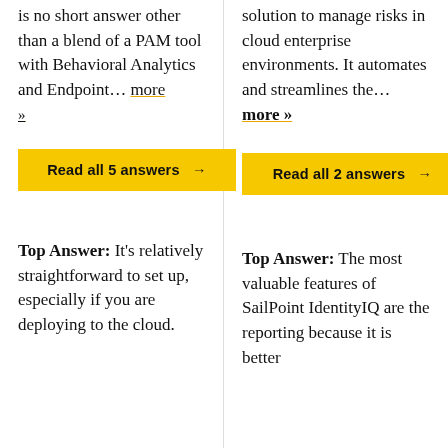is no short answer other than a blend of a PAM tool with Behavioral Analytics and Endpoint... more »
Read all 5 answers →
Top Answer:  It's relatively straightforward to set up, especially if you are deploying to the cloud.
solution to manage risks in cloud enterprise environments. It automates and streamlines the... more »
Read all 2 answers →
Top Answer:  The most valuable features of SailPoint IdentityIQ are the reporting because it is better